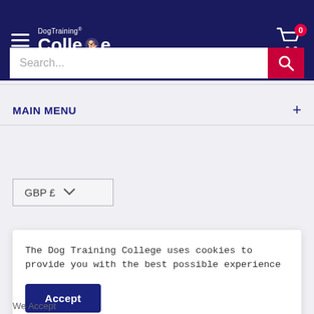DogTraining College — Navigation header with hamburger menu, logo, search bar, and cart icon (badge: 0)
MAIN MENU +
GBP £ (currency selector dropdown)
The Dog Training College uses cookies to provide you with the best possible experience
Accept
We Accept